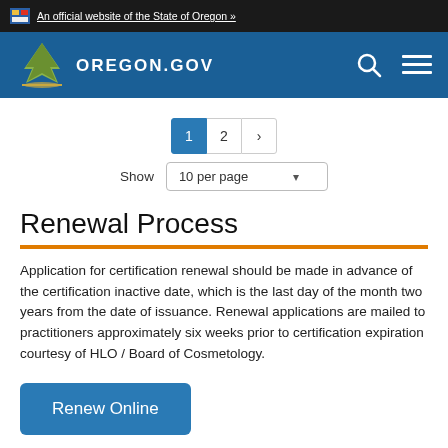An official website of the State of Oregon »
[Figure (logo): Oregon.gov logo with tree and header navigation icons]
1 2 ›
Show 10 per page
Renewal Process
Application for certification renewal should be made in advance of the certification inactive date, which is the last day of the month two years from the date of issuance. Renewal applications are mailed to practitioners approximately six weeks prior to certification expiration courtesy of HLO / Board of Cosmetology.
Renew Online